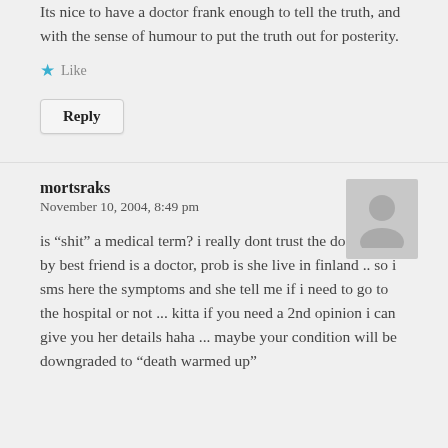Its nice to have a doctor frank enough to tell the truth, and with the sense of humour to put the truth out for posterity.
★ Like
Reply
mortsraks
November 10, 2004, 8:49 pm
[Figure (illustration): Generic user avatar silhouette in gray]
is “shit” a medical term? i really dont trust the docs here ... by best friend is a doctor, prob is she live in finland .. so i sms here the symptoms and she tell me if i need to go to the hospital or not ... kitta if you need a 2nd opinion i can give you her details haha ... maybe your condition will be downgraded to “death warmed up”